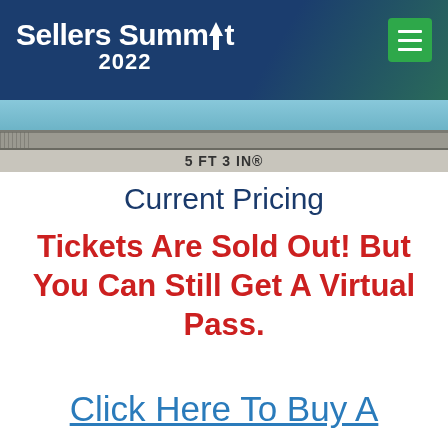Sellers Summit 2022
[Figure (photo): Swimming pool edge showing depth marker reading 5 FT 3 IN]
Current Pricing
Tickets Are Sold Out! But You Can Still Get A Virtual Pass.
Click Here To Buy A